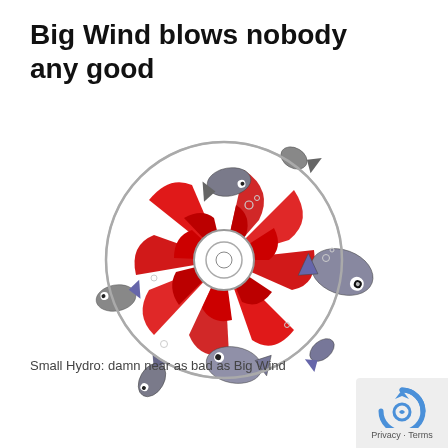Big Wind blows nobody any good
[Figure (illustration): Circular illustration showing fish swirling around a red turbine/vortex design on a white background. Fish are depicted as salmon/trout being sucked into a red spinning wheel or turbine, with bubbles scattered around. The image is a stylized artistic commentary on wind energy and fish/wildlife impact.]
Small Hydro: damn near as bad as Big Wind
[Figure (logo): Google reCAPTCHA logo/badge in bottom right corner with Privacy - Terms text below it]